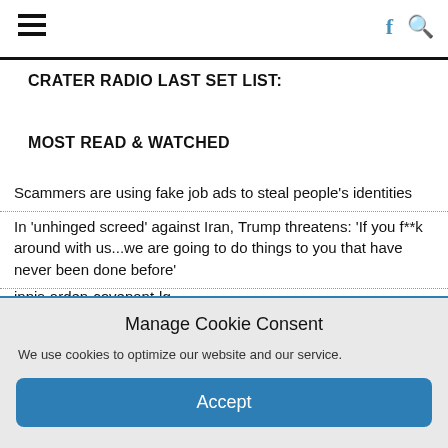≡  f 🔍
CRATER RADIO LAST SET LIST:
MOST READ & WATCHED
Scammers are using fake job ads to steal people's identities
In 'unhinged screed' against Iran, Trump threatens: 'If you f**k around with us...we are going to do things to you that have never been done before'
innis-arden-covenant-lg
Manage Cookie Consent
We use cookies to optimize our website and our service.
Accept